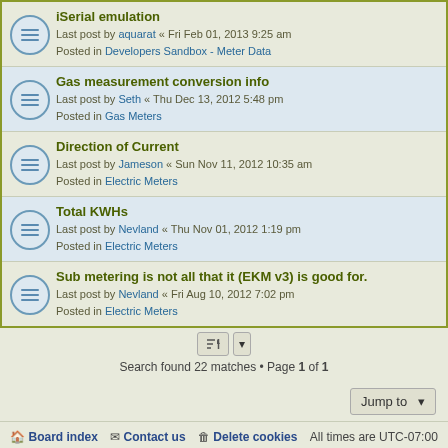iSerial emulation – Last post by aquarat « Fri Feb 01, 2013 9:25 am – Posted in Developers Sandbox - Meter Data
Gas measurement conversion info – Last post by Seth « Thu Dec 13, 2012 5:48 pm – Posted in Gas Meters
Direction of Current – Last post by Jameson « Sun Nov 11, 2012 10:35 am – Posted in Electric Meters
Total KWHs – Last post by Nevland « Thu Nov 01, 2012 1:19 pm – Posted in Electric Meters
Sub metering is not all that it (EKM v3) is good for. – Last post by Nevland « Fri Aug 10, 2012 7:02 pm – Posted in Electric Meters
Search found 22 matches • Page 1 of 1
Board index | Contact us | Delete cookies | All times are UTC-07:00 | Powered by phpBB® Forum Software © phpBB Limited | Privacy | Terms